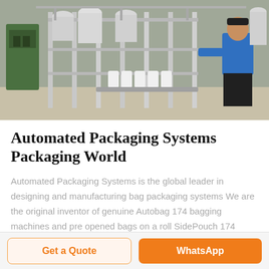[Figure (photo): Industrial factory floor with automated packaging/filling machinery, metal equipment, conveyor lines, white bottles/containers, and a worker in blue top on the right side]
Automated Packaging Systems Packaging World
Automated Packaging Systems is the global leader in designing and manufacturing bag packaging systems We are the original inventor of genuine Autobag 174 bagging machines and pre opened bags on a roll SidePouch 174 specialty packaging and AirPouch 174 protective packaging
Get a Quote
WhatsApp